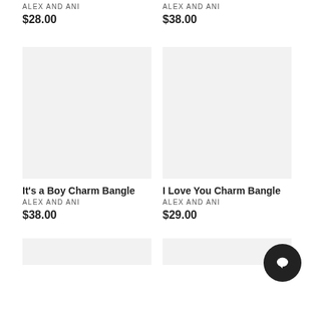ALEX AND ANI
$28.00
ALEX AND ANI
$38.00
[Figure (photo): Product image placeholder – light gray square]
It's a Boy Charm Bangle
ALEX AND ANI
$38.00
[Figure (photo): Product image placeholder – light gray square]
I Love You Charm Bangle
ALEX AND ANI
$29.00
[Figure (photo): Partial product image placeholder – light gray]
[Figure (photo): Partial product image placeholder – light gray]